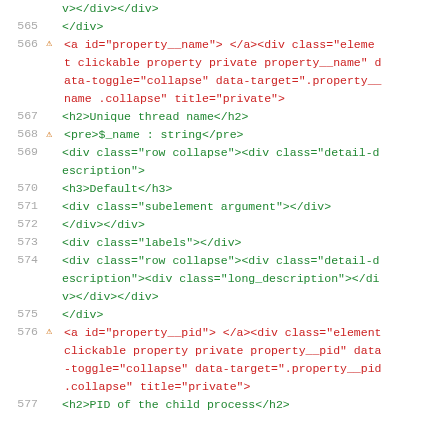565 </div>
566 ⚠ <a id="property__name"> </a><div class="element clickable property private property__name" data-toggle="collapse" data-target=".property__name .collapse" title="private">
567 <h2>Unique thread name</h2>
568 ⚠ <pre>$_name : string</pre>
569 <div class="row collapse"><div class="detail-description">
570 <h3>Default</h3>
571 <div class="subelement argument"></div>
572 </div></div>
573 <div class="labels"></div>
574 <div class="row collapse"><div class="detail-description"><div class="long_description"></div></div></div>
575 </div>
576 ⚠ <a id="property__pid"> </a><div class="element clickable property private property__pid" data-toggle="collapse" data-target=".property__pid .collapse" title="private">
577 <h2>PID of the child process</h2>